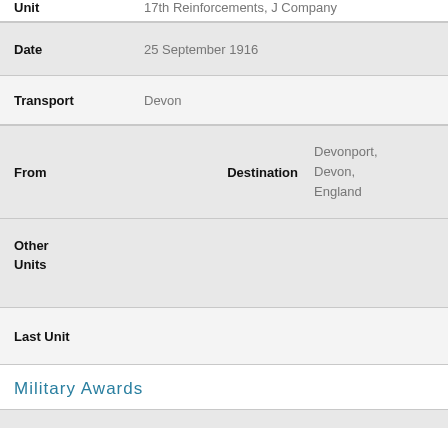| Unit | 17th Reinforcements, J Company |
| Date | 25 September 1916 |
| Transport | Devon |
| From |  | Destination | Devonport, Devon, England |
| Other Units |  |
| Last Unit |  |
Military Awards